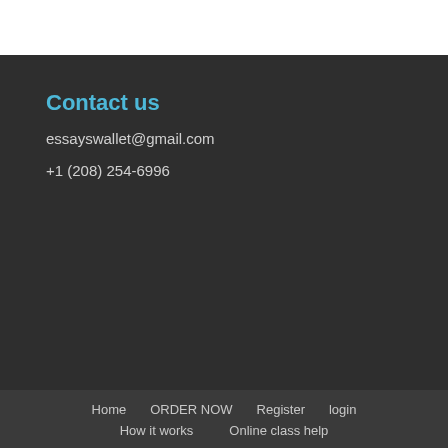Contact us
essayswallet@gmail.com
+1 (208) 254-6996
Home   ORDER NOW   Register   login   How it works   Online class help